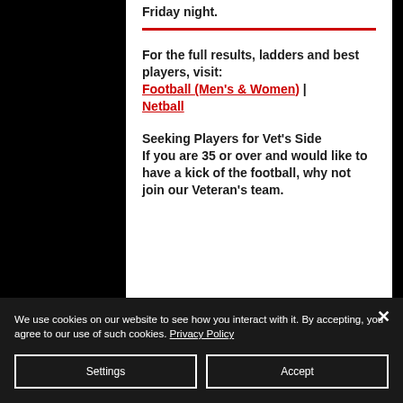Friday night.
For the full results, ladders and best players, visit: Football (Men's & Women) | Netball
Seeking Players for Vet's Side If you are 35 or over and would like to have a kick of the football, why not join our Veteran's team.
We use cookies on our website to see how you interact with it. By accepting, you agree to our use of such cookies. Privacy Policy
Settings
Accept